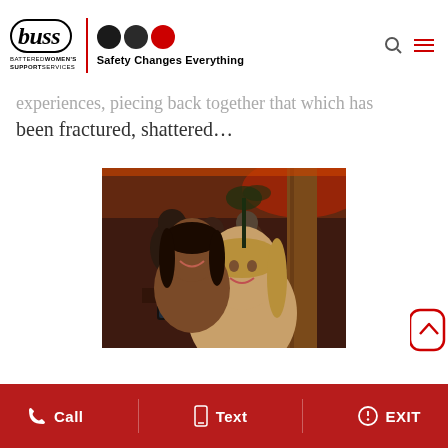buss BATTERED WOMEN'S SUPPORT SERVICES — Safety Changes Everything
experiences, piecing back together that which has been fractured, shattered…
[Figure (photo): Indoor restaurant/bar scene with warm red-orange ambient lighting. A group of people are seated around a table. In the foreground, two women are smiling for the camera — one with dark complexion and braided hair, and one with lighter skin and blonde hair. Several other patrons are visible in the background.]
Call  Text  EXIT